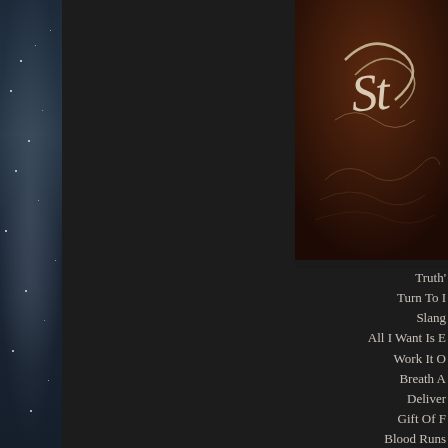[Figure (photo): Left strip showing night sky with stars and faint glowing light, dark blue-grey tones]
[Figure (photo): Top right: album cover art with dark reddish-brown textured background and white decorative script lettering]
Truth'
Turn To I
Slang
All I Want Is E
Work It O
Breath A
Deliver
Gift Of F
Blood Runs
Where Does Love G
Pearl Of Eu